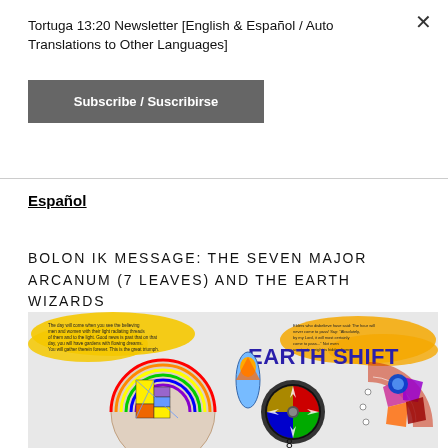Tortuga 13:20 Newsletter [English & Español / Auto Translations to Other Languages]
Subscribe / Suscribirse
Español
BOLON IK MESSAGE: THE SEVEN MAJOR ARCANUM (7 LEAVES) AND THE EARTH WIZARDS
[Figure (illustration): Colorful Earth Shift illustration showing a cosmic mandala with geometric shapes, a clock, a bird figure, and the text 'EARTH SHIFT' prominently in blue/purple lettering, with yellow cloud-like shapes at the top containing text quotations.]